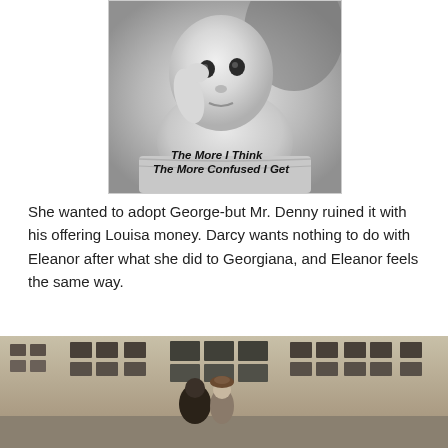[Figure (photo): Black and white photo of a baby looking at the camera with hand near face, with overlaid italic bold text reading 'The More I Think The More Confused I Get']
She wanted to adopt George-but Mr. Denny ruined it with his offering Louisa money. Darcy wants nothing to do with Eleanor after what she did to Georgiana, and Eleanor feels the same way.
[Figure (photo): Color photograph of two figures standing in front of a stone building with gridded windows, appearing to be a period drama scene]